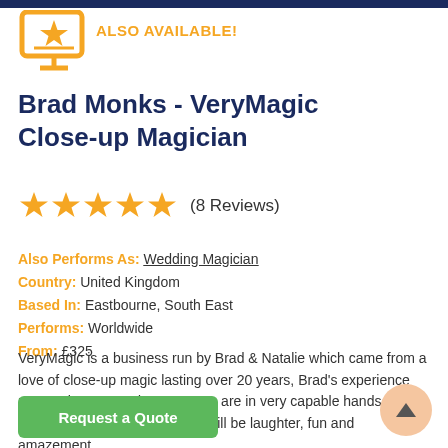[Figure (illustration): Orange monitor/screen icon with a star, indicating online availability]
ALSO AVAILABLE!
Brad Monks - VeryMagic Close-up Magician
[Figure (other): Five orange star rating icons]
(8 Reviews)
Also Performs As: Wedding Magician
Country: United Kingdom
Based In: Eastbourne, South East
Performs: Worldwide
From: £325
VeryMagic is a business run by Brad & Natalie which came from a love of close-up magic lasting over 20 years, Brad's experience means that you and your guests are in very capable hands and you can be assured that there will be laughter, fun and amazement
Request a Quote